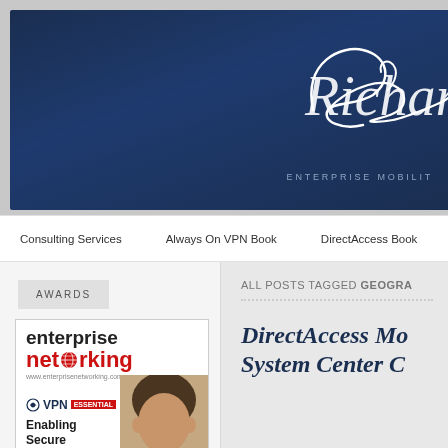[Figure (screenshot): Website header banner with dark navy blue background, cursive 'Richar' signature logo and 'ENTERPRISE MOBILIT' text below]
Consulting Services   Always On VPN Book   DirectAccess Book   Training
AWARDS
[Figure (photo): Enterprise Networking magazine cover showing a man's face and text 'enterprise networking', 'VPN', 'Enabling Secure']
ALL POSTS TAGGED GEOGRA
DirectAccessMo... System Center C...